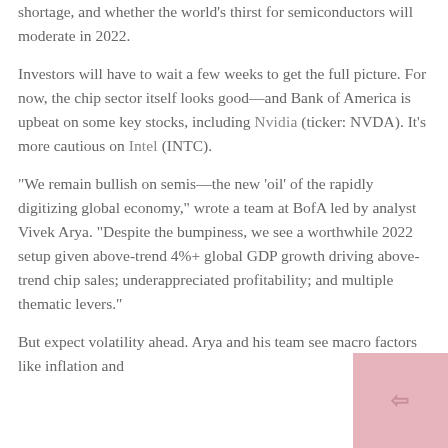shortage, and whether the world's thirst for semiconductors will moderate in 2022.
Investors will have to wait a few weeks to get the full picture. For now, the chip sector itself looks good—and Bank of America is upbeat on some key stocks, including Nvidia (ticker: NVDA). It's more cautious on Intel (INTC).
“We remain bullish on semis—the new ‘oil’ of the rapidly digitizing global economy,” wrote a team at BofA led by analyst Vivek Arya. “Despite the bumpiness, we see a worthwhile 2022 setup given above-trend 4%+ global GDP growth driving above-trend chip sales; underappreciated profitability; and multiple thematic levers.”
But expect volatility ahead. Arya and his team see macro factors like inflation and